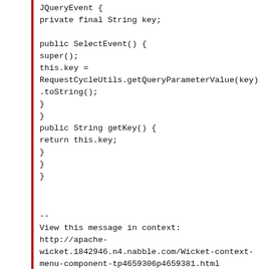JQueryEvent {
private final String key;

public SelectEvent() {
super();
this.key =
RequestCycleUtils.getQueryParameterValue(key)
.toString();
}
}
public String getKey() {
return this.key;
}
}
}
--
View this message in context:
http://apache-wicket.1842946.n4.nabble.com/Wicket-context-menu-component-tp4659306p4659381.html